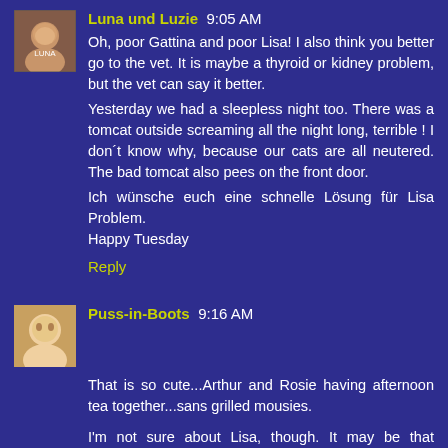[Figure (photo): Avatar image of Luna und Luzie commenter, small square portrait photo]
Luna und Luzie 9:05 AM
Oh, poor Gattina and poor Lisa! I also think you better go to the vet. It is maybe a thyroid or kidney problem, but the vet can say it better.
Yesterday we had a sleepless night too. There was a tomcat outside screaming all the night long, terrible ! I don´t know why, because our cats are all neutered. The bad tomcat also pees on the front door.
Ich wünsche euch eine schnelle Lösung für Lisa Problem.
Happy Tuesday
Reply
[Figure (photo): Avatar image of Puss-in-Boots commenter, small square portrait photo of a person]
Puss-in-Boots 9:16 AM
That is so cute...Arthur and Rosie having afternoon tea together...sans grilled mousies.

I'm not sure about Lisa, though. It may be that because she is such a great age for a cat, she maybe losing her marbles a little. Have a chat to your vet, he may have some